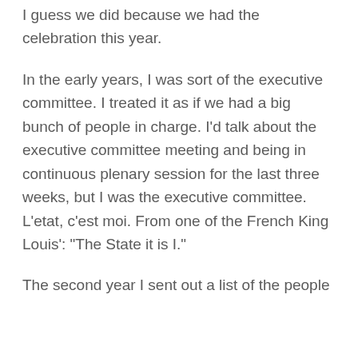I guess we did because we had the celebration this year.
In the early years, I was sort of the executive committee. I treated it as if we had a big bunch of people in charge. I'd talk about the executive committee meeting and being in continuous plenary session for the last three weeks, but I was the executive committee. L'etat, c'est moi. From one of the French King Louis': "The State it is I."
The second year I sent out a list of the people